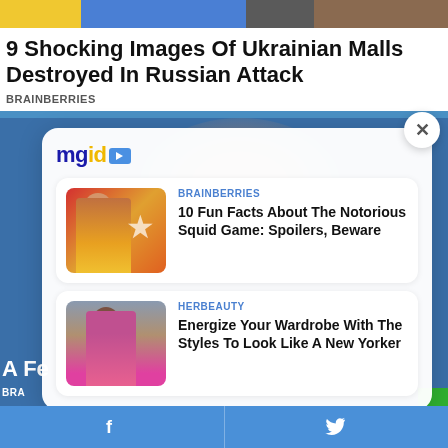[Figure (screenshot): Top image strip showing colorful banner images]
9 Shocking Images Of Ukrainian Malls Destroyed In Russian Attack
BRAINBERRIES
[Figure (screenshot): MGID sponsored content widget popup showing two article cards over a blurred background image of a person]
BRAINBERRIES
10 Fun Facts About The Notorious Squid Game: Spoilers, Beware
HERBEAUTY
Energize Your Wardrobe With The Styles To Look Like A New Yorker
Facebook share | Twitter share